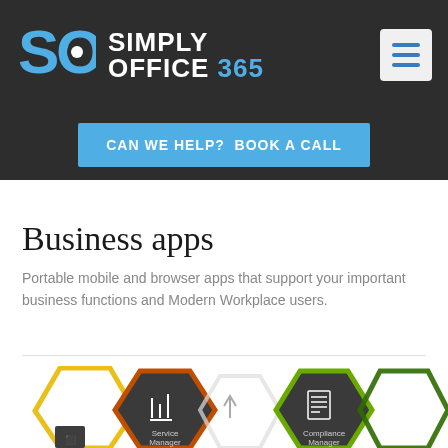SIMPLY OFFICE 365
CAN WE HELP?  BOOK A CALL
Business apps
Portable mobile and browser apps that support your important business functions and Modern Workplace users.
[Figure (illustration): Hexagonal app icons showing Service Manager and Compliance Manager among others, partially visible at the bottom of the page.]